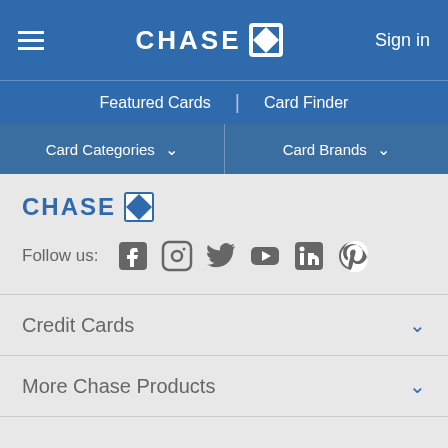CHASE — Sign in
Featured Cards | Card Finder
Card Categories ▾   Card Brands ▾
[Figure (logo): Chase bank logo with blue octagon icon]
Follow us: [Facebook] [Instagram] [Twitter] [YouTube] [LinkedIn] [Pinterest]
Credit Cards ▾
More Chase Products ▾